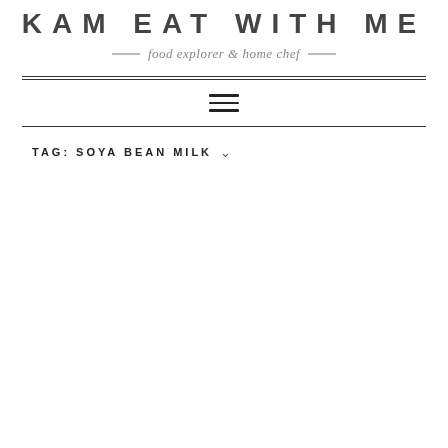KAM EAT WITH ME
food explorer & home chef
TAG: SOYA BEAN MILK